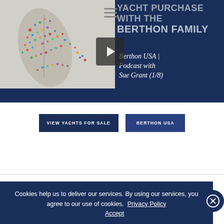[Figure (screenshot): Video thumbnail showing crowd of people forming a sailboat shape (aerial view) on left, dark navy blue panel on right with text 'YACHT PURCHASE WITH THE BERTHON FAMILY' in grey and 'Berthon USA | Podcast with Sue Grant (1/8)' in white. Hamburger menu icon visible. Play button overlay in center.]
VIEW YACHTS FOR SALE
BERTHON USA
Cookies help us to deliver our services. By using our services, you agree to our use of cookies. Privacy Policy  Accept